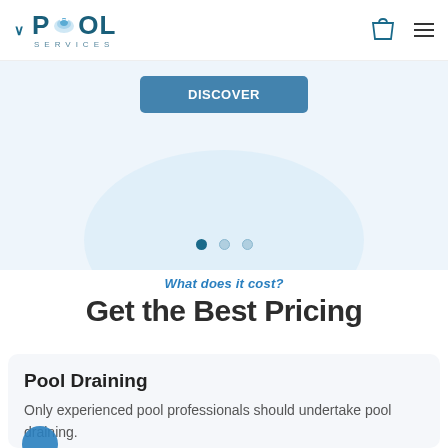Pool Services — navigation header with logo, cart icon, and menu icon
[Figure (screenshot): Hero section with a blue button partially visible, a light blue ellipse/pool shape illustration, and carousel dots (3 dots, first active)]
What does it cost?
Get the Best Pricing
Pool Draining
Only experienced pool professionals should undertake pool draining.